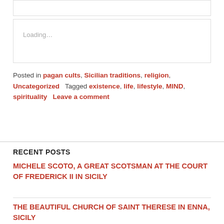[Figure (screenshot): Empty white box with border at top of page]
Loading...
Posted in pagan cults, Sicilian traditions, religion, Uncategorized  Tagged existence, life, lifestyle, MIND, spirituality  Leave a comment
RECENT POSTS
MICHELE SCOTO, A GREAT SCOTSMAN AT THE COURT OF FREDERICK II IN SICILY
THE BEAUTIFUL CHURCH OF SAINT THERESE IN ENNA, SICILY